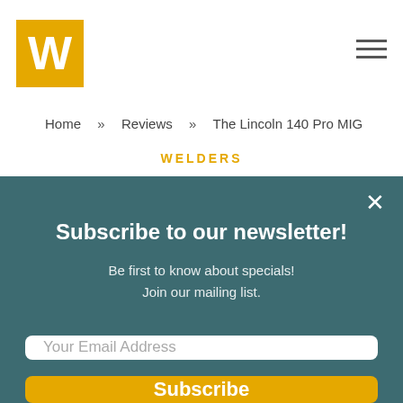[Figure (logo): Yellow square logo with white bold W letter]
Home » Reviews » The Lincoln 140 Pro MIG
WELDERS
Subscribe to our newsletter!
Be first to know about specials!
Join our mailing list.
Your Email Address
Subscribe